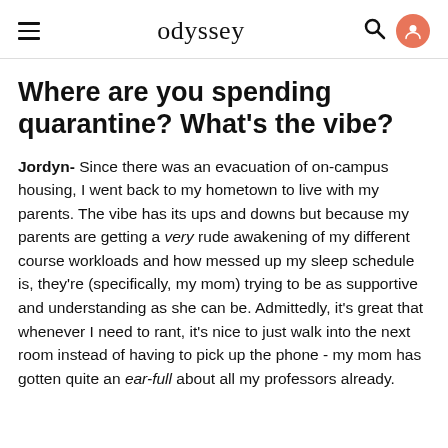odyssey
Where are you spending quarantine? What's the vibe?
Jordyn- Since there was an evacuation of on-campus housing, I went back to my hometown to live with my parents. The vibe has its ups and downs but because my parents are getting a very rude awakening of my different course workloads and how messed up my sleep schedule is, they're (specifically, my mom) trying to be as supportive and understanding as she can be. Admittedly, it's great that whenever I need to rant, it's nice to just walk into the next room instead of having to pick up the phone - my mom has gotten quite an ear-full about all my professors already.